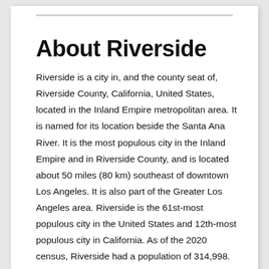About Riverside
Riverside is a city in, and the county seat of, Riverside County, California, United States, located in the Inland Empire metropolitan area. It is named for its location beside the Santa Ana River. It is the most populous city in the Inland Empire and in Riverside County, and is located about 50 miles (80 km) southeast of downtown Los Angeles. It is also part of the Greater Los Angeles area. Riverside is the 61st-most populous city in the United States and 12th-most populous city in California. As of the 2020 census, Riverside had a population of 314,998. Along with San Bernardino…